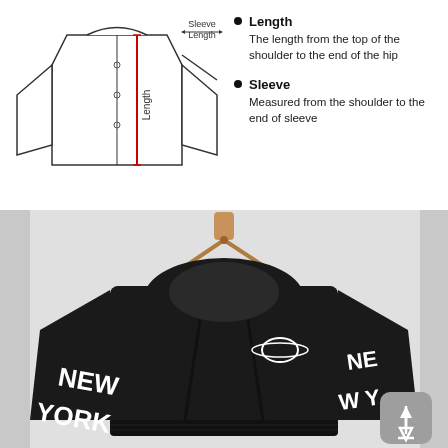[Figure (illustration): Line drawing diagram of a jacket/hoodie showing measurement lines: 'Sleeve Length' labeled horizontally at top, 'Length' labeled vertically along the body with a red line, and 'Sleeve' measurement indicated.]
Length – The length from the top of the shoulder to the end of the hip
Sleeve – Measured from the shoulder to the end of sleeve
[Figure (photo): Product photo of a black cropped hoodie with white 'NEW YORK' text printed along both sleeves and a planet/Saturn emblem embroidered on the left chest. The hoodie is displayed on a wooden hanger against a white/light grey background. A grey upload button icon is visible in the bottom right corner.]